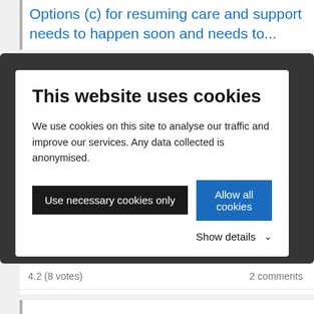Options (c) for resuming care and support needs to happen soon and needs to...
[Figure (screenshot): Cookie consent modal overlay with dark backdrop. Title: 'This website uses cookies'. Body text: 'We use cookies on this site to analyse our traffic and improve our services. Any data collected is anonymised.' Two buttons: 'Use necessary cookies only' (dark/black) and 'Allow all cookies' (blue). Below buttons: 'Show details' with chevron arrow.]
4.2 (8 votes)
2 comments
May 08, 2020 at 01:19PM
Quarantine Places